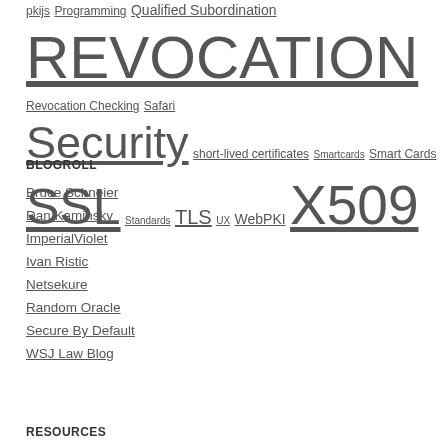pkijs  Programming  Qualified Subordination  REVOCATION  Revocation Checking  Safari  Security  short-lived certificates  Smartcards  Smart Cards  SSL  Standards  TLS  UX  WebPKI  X509
BLOGROLL
Bruce Schneier
Dan Kaminsky
ImperialViolet
Ivan Ristic
Netsekure
Random Oracle
Secure By Default
WSJ Law Blog
RESOURCES